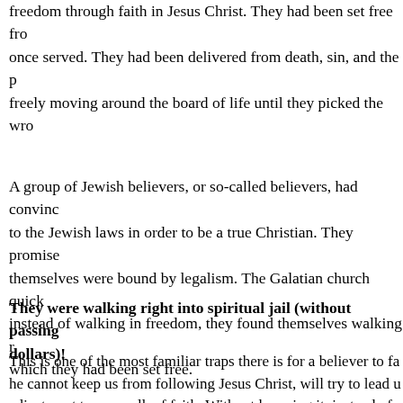freedom through faith in Jesus Christ. They had been set free from the things they once served. They had been delivered from death, sin, and the power of Satan, freely moving around the board of life until they picked the wrong card.
A group of Jewish believers, or so-called believers, had convinced them to submit to the Jewish laws in order to be a true Christian. They promised freedom but themselves were bound by legalism. The Galatian church quickly fell into that trap; instead of walking in freedom, they found themselves walking right back into prison which they had been set free.
They were walking right into spiritual jail (without passing Go or collecting 200 dollars)!
This is one of the most familiar traps there is for a believer to fall into. Satan, if he cannot keep us from following Jesus Christ, will try to lead us into making an adjustment to our walk of faith. Without knowing it, instead of walking by faith, we begin to walk by faith in our adherence to certain principles and we look down on others who do not act and think the way we do.